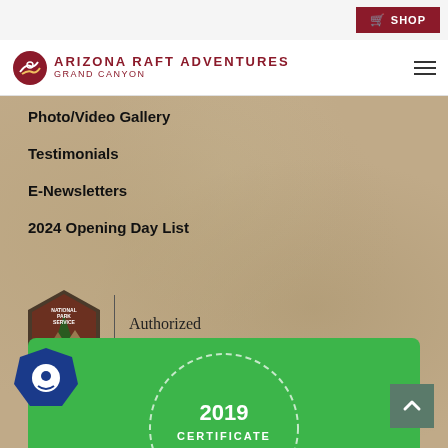SHOP
[Figure (logo): Arizona Raft Adventures Grand Canyon logo with raft icon]
Photo/Video Gallery
Testimonials
E-Newsletters
2024 Opening Day List
[Figure (logo): National Park Service Authorized Concessioner badge]
[Figure (other): 2019 Certificate of Excellence green badge with chat widget overlay]